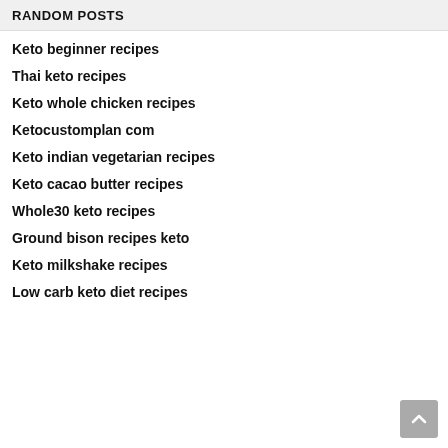RANDOM POSTS
Keto beginner recipes
Thai keto recipes
Keto whole chicken recipes
Ketocustomplan com
Keto indian vegetarian recipes
Keto cacao butter recipes
Whole30 keto recipes
Ground bison recipes keto
Keto milkshake recipes
Low carb keto diet recipes